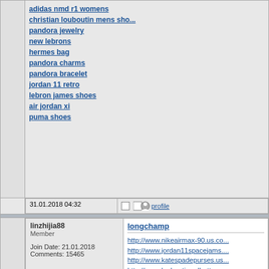adidas nmd r1 womens
christian louboutin mens shoes
pandora jewelry
new lebrons
hermes bag
pandora charms
pandora bracelet
jordan 11 retro
lebron james shoes
air jordan xi
puma shoes
31.01.2018 04:32
profile
linzhijia88
Member
Join Date: 21.01.2018
Comments: 15465
longchamp
http://www.nikeairmax-90.us.com/
http://www.jordan11spacejams.
http://www.katespadepurses.us
http://www.louboutinredbottoms
http://www.fitflops-sale.us.com/
http://www.nikeairvapormaxflyk
http://www.pandorajewelyrings
http://www.lebron15-shoes.us.c
http://www.jordans11shoes.us.c
http://www.longchampbag.us.co
http://www.pandora-jewelrysale
http://www.salomonspeedcross
http://www.kd10-shoes.us.com/
http://www.hermesbirkin-handb
http://www.adidas-ultraboost.us
http://www.kyrie-4.us.com/ kyrie
http://www.yeezyboost350shoe
http://www.fitflopsshoes.us.com
http://www.adidasnmdrunnerr1.
http://www.birkenstocksandalss
http://www.adidasyeezy-350.us
http://www.airmax90shoes.us